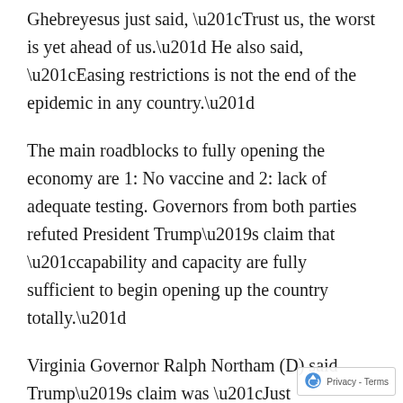Ghebreyesus just said, “Trust us, the worst is yet ahead of us.” He also said, “Easing restrictions is not the end of the epidemic in any country.”
The main roadblocks to fully opening the economy are 1: No vaccine and 2: lack of adequate testing. Governors from both parties refuted President Trump’s claim that “capability and capacity are fully sufficient to begin opening up the country totally.”
Virginia Governor Ralph Northam (D) said Trump’s claim was “Just delusional.” Maryland Governor Larry Hogan (R) told CNN, “To say that the governors have plenty of testing and they shoul… to work on testing, somehow we aren’t doing ou…